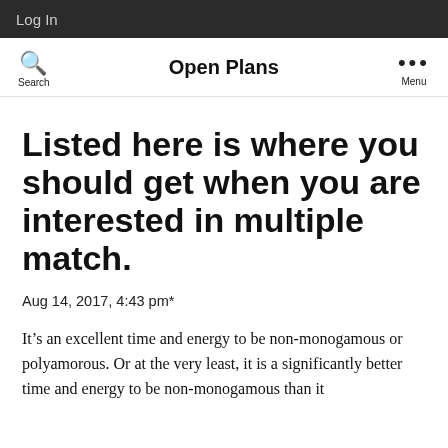Log In
Open Plans
Listed here is where you should get when you are interested in multiple match.
Aug 14, 2017, 4:43 pm*
It’s an excellent time and energy to be non-monogamous or polyamorous. Or at the very least, it is a significantly better time and energy to be non-monogamous than it